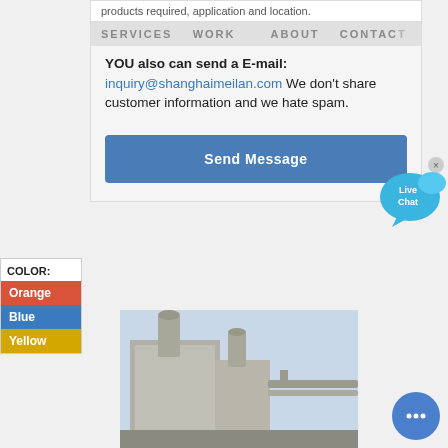products required, application and location.
SERVICES   WORK       ABOUT   CONTACT
YOU also can send a E-mail: inquiry@shanghaimeilan.com We don't share customer information and we hate spam.
Send Message
COLOR:
Orange
Blue
Yellow
[Figure (photo): Industrial facility with large concrete structures, exhaust stacks, and pipes against a light sky.]
[Figure (other): Live Chat speech bubble widget with close button]
[Figure (other): Live chat round button with ellipsis icon]